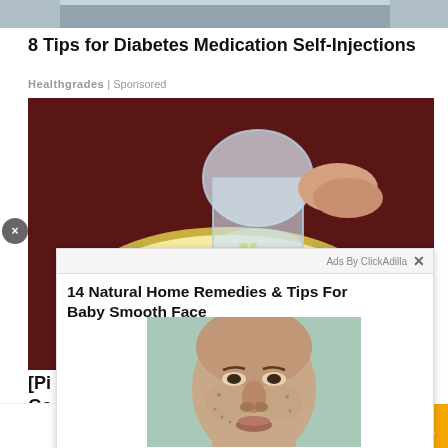[Figure (photo): Top portion of a person (cropped, showing arms/torso) with light blue background]
8 Tips for Diabetes Medication Self-Injections
Healthgrades | Sponsored
[Figure (photo): A glass jar pouring liquid oil or mixture onto a slice of bread on a dark red plate]
[Figure (photo): Ad overlay popup: face close-up of a person with acne/textured skin, used in a skincare home remedies advertisement]
14 Natural Home Remedies & Tips For Baby Smooth Face
Ads By ClickAdilla
[Pi
Ga
The